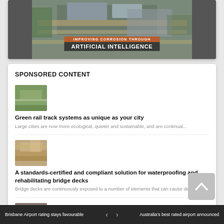[Figure (screenshot): Aerial view of industrial/construction site with overlay text: IMPROVING CORROSION THROUGH ARTIFICIAL INTELLIGENCE]
SPONSORED CONTENT
[Figure (photo): Thumbnail of green rail track systems]
Green rail track systems as unique as your city
Large cities are now more ecological, quieter and sustainable, and are continual...
[Figure (photo): Thumbnail of bridge deck waterproofing]
A standards-certified and compliant solution for waterproofing and rehabilitating bridge decks
Bridge decks are continuously exposed to a number of elements that can cause det...
[Figure (photo): Thumbnail of third article]
Improving safety behaviour through digitilization
Brisbane Airport rating stays favourable   <   >   Australia's best rated airport announced